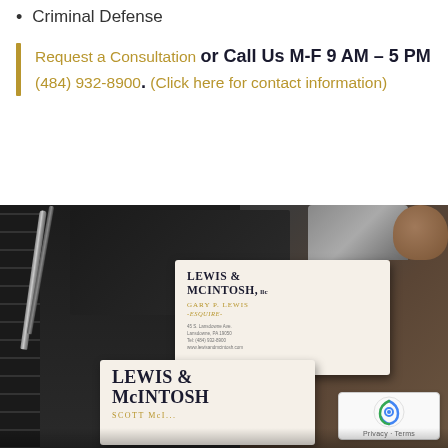Criminal Defense
Request a Consultation or Call Us M-F 9 AM – 5 PM (484) 932-8900. (Click here for contact information)
[Figure (photo): Photograph of a desk with spiral-bound notebooks, pens, a laptop, and business cards for Lewis & McIntosh LLC showing Gary P. Lewis, Esquire and Scott McIntosh (partially visible), with a reCAPTCHA badge in the lower right corner.]